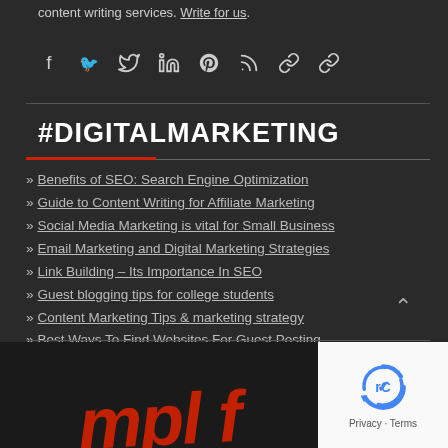content writing services. Write for us.
[Figure (infographic): Social media icons: Facebook, Twitter, LinkedIn, Pinterest, RSS, and two chain/link icons in gray on dark background]
#DIGITALMARKETING
» Benefits of SEO: Search Engine Optimization
» Guide to Content Writing for Affiliate Marketing
» Social Media Marketing is vital for Small Business
» Email Marketing and Digital Marketing Strategies
» Link Building – Its Importance In SEO
» Guest blogging tips for college students
» Content Marketing Tips & marketing strategy
» Best Ways To Find Websites For Guest Posting
[Figure (logo): reCAPTCHA widget with Privacy and Terms links on white background]
[Figure (illustration): Red italic stylized text partially visible at bottom of dark background]